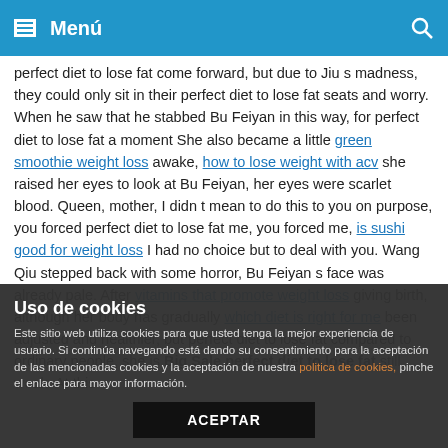Menú
perfect diet to lose fat come forward, but due to Jiu s madness, they could only sit in their perfect diet to lose fat seats and worry. When he saw that he stabbed Bu Feiyan in this way, for perfect diet to lose fat a moment She also became a little green smoothie weight loss awake, how to lose weight with acv she raised her eyes to look at Bu Feiyan, her eyes were scarlet blood. Queen, mother, I didn t mean to do this to you on purpose, you forced perfect diet to lose fat me, you forced me, is sushi good for weight loss I had no choice but to deal with you. Wang Qiu stepped back with some horror, Bu Feiyan s face was already pale. After vitamins that promote weight loss giving birth, although her body has gradually which diet is right for me been adjusted and healthier, but perfect diet to lose fat compared to ordinary people, she is Big Sale perfect diet to lose fat still weak. At this
Uso de cookies
Este sitio web utiliza cookies para que usted tenga la mejor experiencia de usuario. Si continúa navegando está dando su consentimiento para la aceptación de las mencionadas cookies y la aceptación de nuestra politica de cookies, pinche el enlace para mayor información.
ACEPTAR